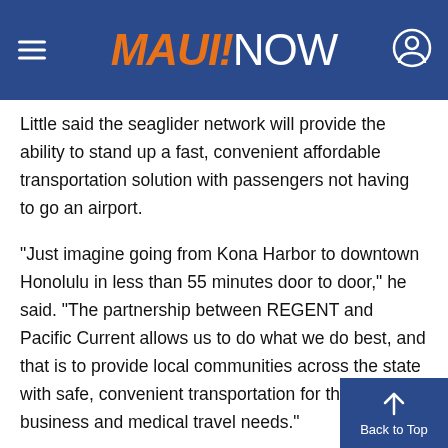MAUI NOW
Little said the seaglider network will provide the ability to stand up a fast, convenient affordable transportation solution with passengers not having to go an airport.
“Just imagine going from Kona Harbor to downtown Honolulu in less than 55 minutes door to door,” he said. “The partnership between REGENT and Pacific Current allows us to do what we do best, and that is to provide local communities across the state with safe, convenient transportation for their leisure, business and medical travel needs.”
Billy Thalheimer, CEO and co-founder of REGE... said in a press release that his company is com...